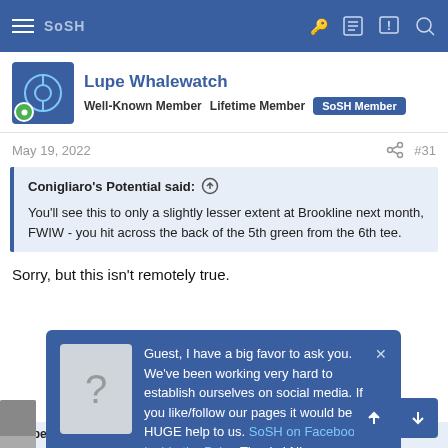SoSH (navigation bar)
Lupe Whalewatch
Well-Known Member  Lifetime Member  SoSH Member
May 19, 2022  #31
Conigliaro's Potential said: ↑

You'll see this to only a slightly lesser extent at Brookline next month, FWIW - you hit across the back of the 5th green from the 6th tee.
Sorry, but this isn't remotely true.
[Figure (screenshot): Popup overlay: Guest, I have a big favor to ask you. We've been working very hard to establish ourselves on social media. If you like/follow our pages it would be a HUGE help to us. SoSH on Facebook and Inside the Pylon Thanks! Nip]
Lupe Whalewatch said: ↑